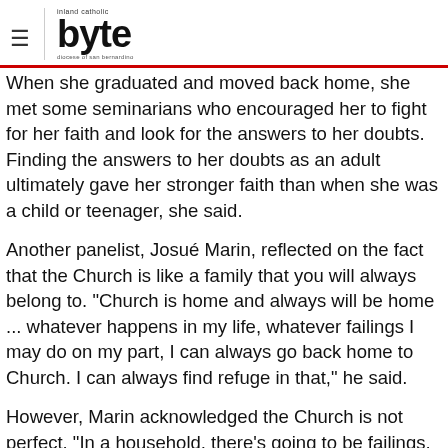Inland Catholic byte — diocese of san bernardino
When she graduated and moved back home, she met some seminarians who encouraged her to fight for her faith and look for the answers to her doubts. Finding the answers to her doubts as an adult ultimately gave her stronger faith than when she was a child or teenager, she said.
Another panelist, Josué Marin, reflected on the fact that the Church is like a family that you will always belong to. "Church is home and always will be home ... whatever happens in my life, whatever failings I may do on my part, I can always go back home to Church. I can always find refuge in that," he said.
However, Marin acknowledged the Church is not perfect. "In a household, there's going to be failings, there's going to be shortcomings, just in the same way that the Church is going to fail me at times," he said.